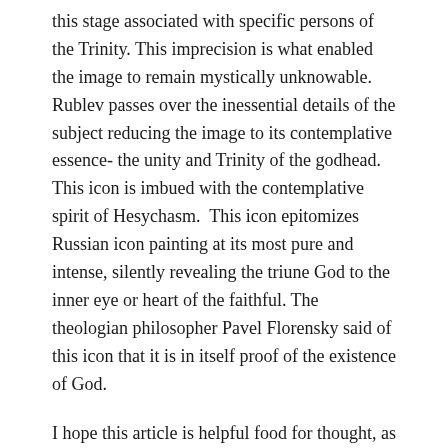this stage associated with specific persons of the Trinity. This imprecision is what enabled the image to remain mystically unknowable. Rublev passes over the inessential details of the subject reducing the image to its contemplative essence- the unity and Trinity of the godhead. This icon is imbued with the contemplative spirit of Hesychasm.  This icon epitomizes Russian icon painting at its most pure and intense, silently revealing the triune God to the inner eye or heart of the faithful. The theologian philosopher Pavel Florensky said of this icon that it is in itself proof of the existence of God.
I hope this article is helpful food for thought, as we move forward to creating new icons for the twenty-first century. I think many discussions on the subject would be very helpful!
Some Resources used in this article: “The Meaning of Icons” by L. Ouspensky and “The Avant Garde Icon” by Andre Spira.
Please visit my website to learn about my icons and icon